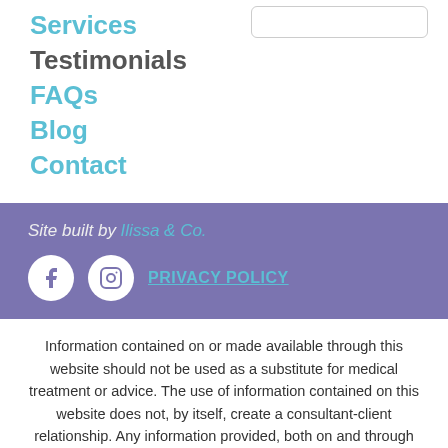Services
Testimonials
FAQs
Blog
Contact
Site built by Ilissa & Co.
PRIVACY POLICY
Information contained on or made available through this website should not be used as a substitute for medical treatment or advice. The use of information contained on this website does not, by itself, create a consultant-client relationship. Any information provided, both on and through this website, is only made in the capacity of a Certified Pediatric Sleep Consultant and in no way creates a patient-physician relationship. Read the Full Disclaimer Here